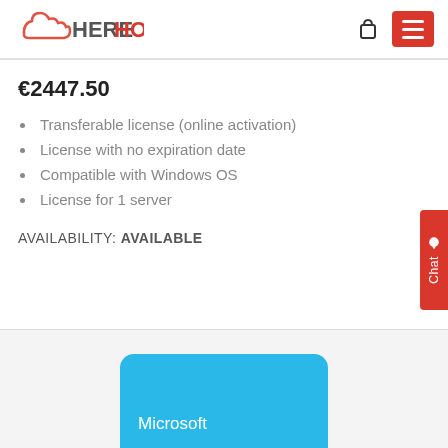[Figure (logo): HereHost logo with red cloud icon and HERE in grey, HOST in red text]
€2447.50
Transferable license (online activation)
License with no expiration date
Compatible with Windows OS
License for 1 server
AVAILABILITY: AVAILABLE
[Figure (screenshot): Partial Microsoft product box in blue at bottom of page]